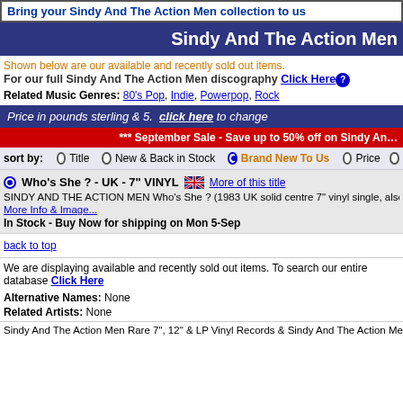Bring your Sindy And The Action Men collection to us
Sindy And The Action Men
Shown below are our available and recently sold out items.
For our full Sindy And The Action Men discography Click Here
Related Music Genres: 80's Pop, Indie, Powerpop, Rock
Price in pounds sterling & 5. click here to change
*** September Sale - Save up to 50% off on Sindy An...
sort by: Title  New & Back in Stock  Brand New To Us  Price
Who's She ? - UK - 7" VINYL  More of this title
SINDY AND THE ACTION MEN Who's She ? (1983 UK solid centre 7" vinyl single, also including Slee... picture sleeve. The sleeve shows just a little light wear & the vinyl remains excellent with little sign of p... More Info & Image...  In Stock - Buy Now for shipping on Mon 5-Sep
back to top
We are displaying available and recently sold out items. To search our entire database Click Here
Alternative Names: None
Related Artists: None
Sindy And The Action Men Rare 7", 12" & LP Vinyl Records & Sindy And The Action Men CD albums &...